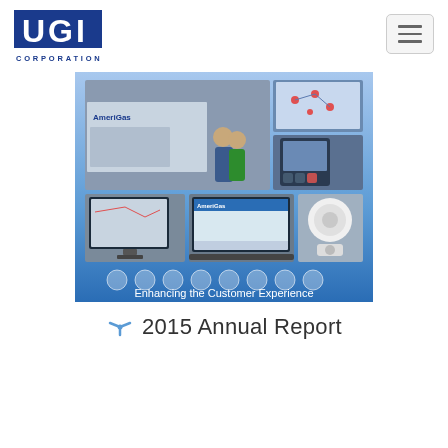[Figure (logo): UGI Corporation logo in dark blue, with UGI in large bold letters and CORPORATION below in smaller spaced letters]
[Figure (photo): AmeriGas collage showing delivery truck with two people, tablet with map, handheld payment device, desktop computer with routing software, AmeriGas website on laptop, white gas equipment. Blue gradient background with icon row and text 'Enhancing the Customer Experience']
2015 Annual Report